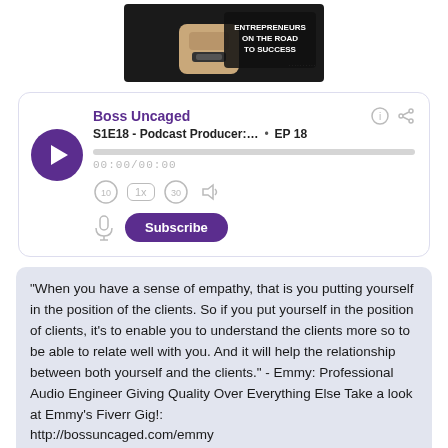[Figure (photo): Partial podcast cover image showing 'Entrepreneurs on the Road to Success' banner with a person's fist/arm visible]
[Figure (screenshot): Podcast player card for 'Boss Uncaged' showing S1E18 - Podcast Producer:... Episode 18, with play button, progress bar, time 00:00/00:00, playback controls (rewind 10, 1x speed, forward 30, volume), microphone icon, and Subscribe button]
"When you have a sense of empathy, that is you putting yourself in the position of the clients. So if you put yourself in the position of clients, it's to enable you to understand the clients more so to be able to relate well with you. And it will help the relationship between both yourself and the clients." - Emmy: Professional Audio Engineer Giving Quality Over Everything Else Take a look at Emmy's Fiverr Gig!: http://bossuncaged.com/emmy